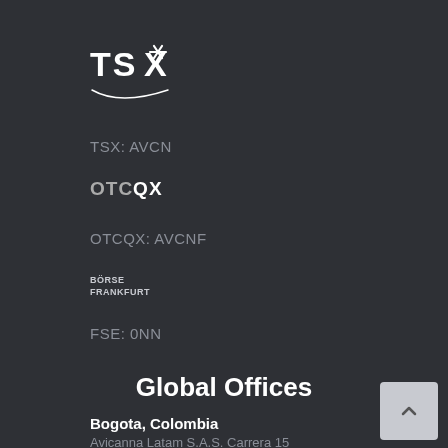[Figure (logo): TSX (Toronto Stock Exchange) logo with stylized star/asterisk mark]
TSX: AVCN
[Figure (logo): OTCQX logo]
OTCQX: AVCNF
[Figure (logo): Börse Frankfurt logo]
FSE: 0NN
Global Offices
Bogota, Colombia
Avicanna Latam S.A.S. Carrera 15